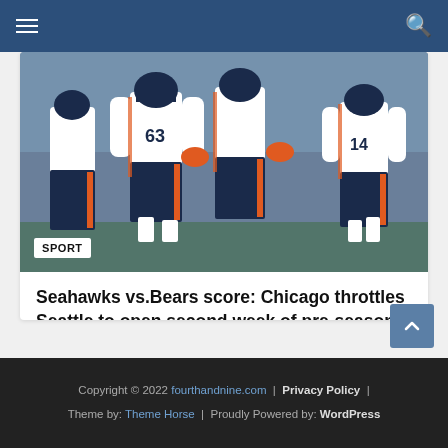Navigation bar with hamburger menu and search icon
[Figure (photo): Football players in Chicago Bears uniforms (navy and orange) on field, numbers 63 and 14 visible]
SPORT
Seahawks vs.Bears score: Chicago throttles Seattle to open second week of pre-season
August 19, 2022 / Emet
Copyright © 2022 fourthandnine.com | Privacy Policy | Theme by: Theme Horse | Proudly Powered by: WordPress